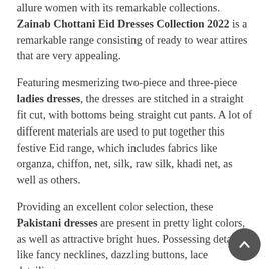allure women with its remarkable collections. Zainab Chottani Eid Dresses Collection 2022 is a remarkable range consisting of ready to wear attires that are very appealing.
Featuring mesmerizing two-piece and three-piece ladies dresses, the dresses are stitched in a straight fit cut, with bottoms being straight cut pants. A lot of different materials are used to put together this festive Eid range, which includes fabrics like organza, chiffon, net, silk, raw silk, khadi net, as well as others.
Providing an excellent color selection, these Pakistani dresses are present in pretty light colors, as well as attractive bright hues. Possessing details like fancy necklines, dazzling buttons, lace detailings,